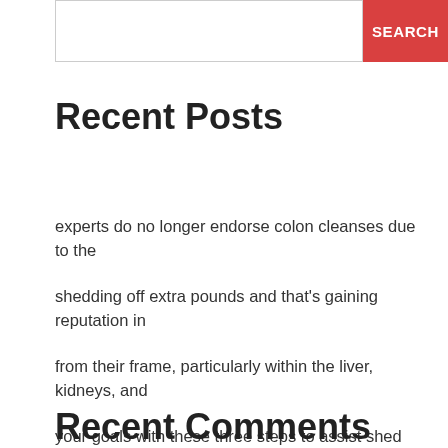SEARCH
Recent Posts
experts do no longer endorse colon cleanses due to the
shedding off extra pounds and that's gaining reputation in
from their frame, particularly within the liver, kidneys, and
your goals with these three steps to assist shed pounds.
your weight loss dreams come authentic.
Recent Comments